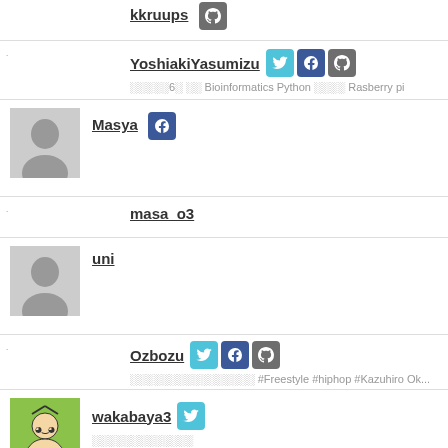kkruups [github icon]
YoshiakiYasumizu [twitter icon][facebook icon][github icon] — Bioinformatics Python Rasberry pi
Masya [facebook icon]
masa_o3
uni
Ozbozu [twitter icon][facebook icon][github icon] — #Freestyle #hiphop #Kazuhiro Ok...
wakabaya3 [twitter icon]
Kumiko_Takikawa